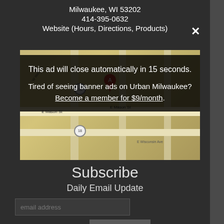Milwaukee, WI 53202
414-395-0632
Website (Hours, Directions, Products)
[Figure (map): Google map showing downtown Milwaukee area near E Mason St with location pin marker A, route 18 badges visible]
This ad will close automatically in 15 seconds.
Tired of seeing banner ads on Urban Milwaukee? Become a member for $9/month.
Subscribe
Daily Email Update
email address
Subscribe
Take the next step, become a member